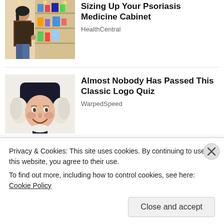[Figure (photo): Woman shopping in a pharmacy/store aisle, looking at products on shelves]
Sizing Up Your Psoriasis Medicine Cabinet
HealthCentral
[Figure (photo): Illustrated character resembling Quaker Oats man or colonial figure wearing a dark hat with white powdered wig, smiling]
Almost Nobody Has Passed This Classic Logo Quiz
WarpedSpeed
[Figure (photo): Partial view of a blonde woman's face, close-up]
Privacy & Cookies: This site uses cookies. By continuing to use this website, you agree to their use.
To find out more, including how to control cookies, see here: Cookie Policy